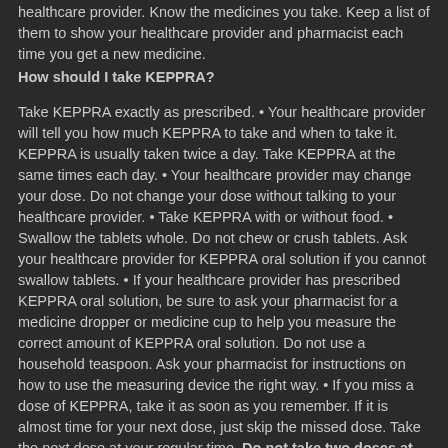healthcare provider. Know the medicines you take. Keep a list of them to show your healthcare provider and pharmacist each time you get a new medicine.
How should I take KEPPRA?
Take KEPPRA exactly as prescribed. • Your healthcare provider will tell you how much KEPPRA to take and when to take it. KEPPRA is usually taken twice a day. Take KEPPRA at the same times each day. • Your healthcare provider may change your dose. Do not change your dose without talking to your healthcare provider. • Take KEPPRA with or without food. • Swallow the tablets whole. Do not chew or crush tablets. Ask your healthcare provider for KEPPRA oral solution if you cannot swallow tablets. • If your healthcare provider has prescribed KEPPRA oral solution, be sure to ask your pharmacist for a medicine dropper or medicine cup to help you measure the correct amount of KEPPRA oral solution. Do not use a household teaspoon. Ask your pharmacist for instructions on how to use the measuring device the right way. • If you miss a dose of KEPPRA, take it as soon as you remember. If it is almost time for your next dose, just skip the missed dose. Take the next dose at your regular time. Do not take two doses at the same time. • If you take too much KEPPRA, call your local Poison Control Center or go to the nearest emergency room right away.
What should I avoid while taking KEPPRA?